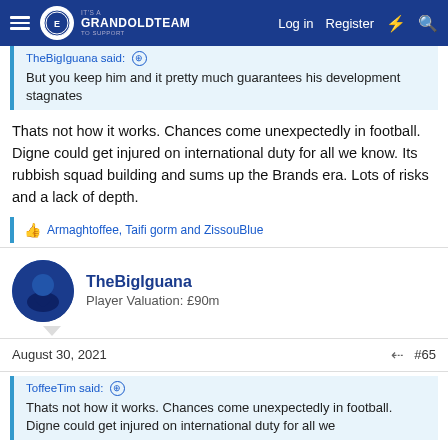It's a Grand Old Team - Log in - Register
TheBigIguana said:
But you keep him and it pretty much guarantees his development stagnates
Thats not how it works. Chances come unexpectedly in football. Digne could get injured on international duty for all we know. Its rubbish squad building and sums up the Brands era. Lots of risks and a lack of depth.
Armaghtoffee, Taifi gorm and ZissouBlue
TheBigIguana
Player Valuation: £90m
August 30, 2021
#65
ToffeeTim said:
Thats not how it works. Chances come unexpectedly in football. Digne could get injured on international duty for all we